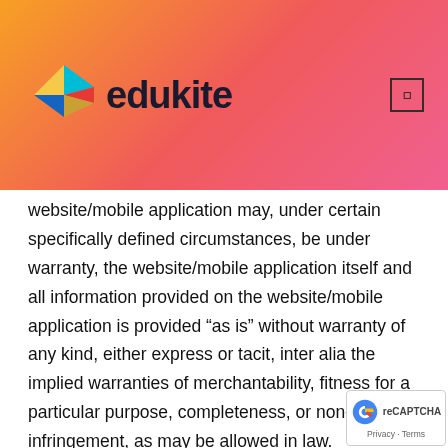[Figure (logo): Edukite logo with colorful geometric kite shape and text 'edukite' in dark color on gradient orange-pink header background]
website/mobile application may, under certain specifically defined circumstances, be under warranty, the website/mobile application itself and all information provided on the website/mobile application is provided “as is” without warranty of any kind, either express or tacit, inter alia the implied warranties of merchantability, fitness for a particular purpose, completeness, or non-infringement, as may be allowed in law.
10.5. In addition to the disclaimers contained elsewhere in these Terms and Conditions, Edukite also makes no express or tacit warranty or representation, that the